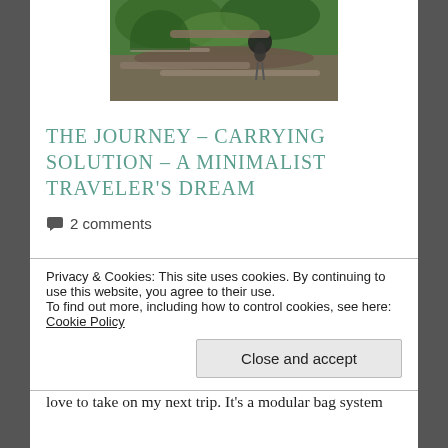[Figure (photo): Partial wildlife photo showing a bird or animal among trees and rocky terrain with green foliage, viewed from above]
THE JOURNEY – CARRYING SOLUTION – A MINIMALIST TRAVELER'S DREAM
2 comments
As we ease back into travel in the coming months,
Privacy & Cookies: This site uses cookies. By continuing to use this website, you agree to their use.
To find out more, including how to control cookies, see here: Cookie Policy
Close and accept
love to take on my next trip. It's a modular bag system